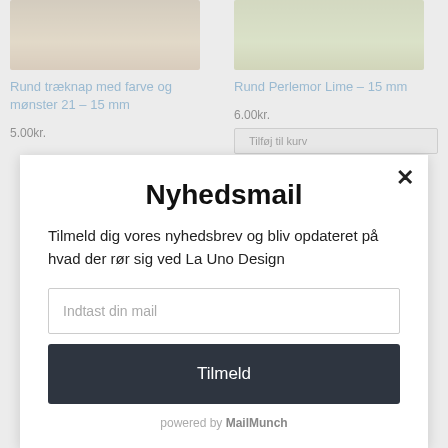[Figure (photo): Partial product image top left - wooden button]
Rund træknap med farve og mønster 21 – 15 mm
5.00kr.
[Figure (photo): Partial product image top right - lime green button]
Rund Perlemor Lime – 15 mm
6.00kr.
Nyhedsmail
Tilmeld dig vores nyhedsbrev og bliv opdateret på hvad der rør sig ved La Uno Design
Indtast din mail
Tilmeld
powered by MailMunch